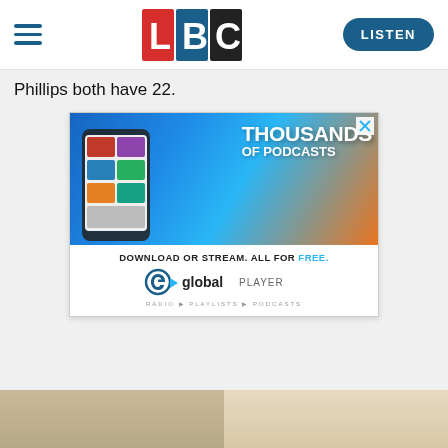LBC — LISTEN
Phillips both have 22.
[Figure (screenshot): Global Player advertisement: 'THOUSANDS OF PODCASTS — DOWNLOAD OR STREAM. ALL FOR FREE.' with Global Player logo showing radio, playlists, podcasts. Features a phone displaying podcast covers on a blue gradient background.]
[Figure (photo): Partial photograph at the bottom of the page showing two people, cropped.]